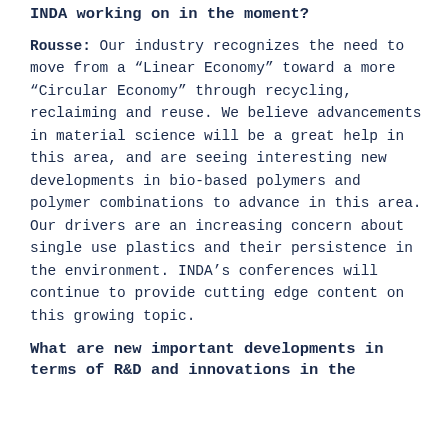INDA working on in the moment?
Rousse: Our industry recognizes the need to move from a “Linear Economy” toward a more “Circular Economy” through recycling, reclaiming and reuse. We believe advancements in material science will be a great help in this area, and are seeing interesting new developments in bio-based polymers and polymer combinations to advance in this area. Our drivers are an increasing concern about single use plastics and their persistence in the environment. INDA’s conferences will continue to provide cutting edge content on this growing topic.
What are new important developments in terms of R&D and innovations in the